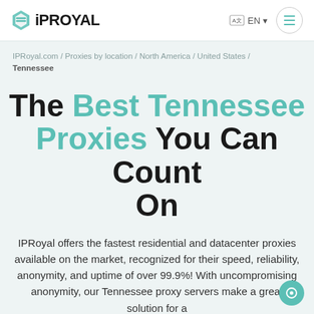IPRoyal EN
IPRoyal.com / Proxies by location / North America / United States / Tennessee
The Best Tennessee Proxies You Can Count On
IPRoyal offers the fastest residential and datacenter proxies available on the market, recognized for their speed, reliability, anonymity, and uptime of over 99.9%! With uncompromising anonymity, our Tennessee proxy servers make a great solution for a